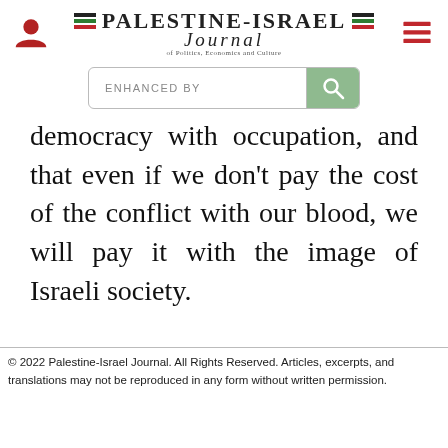Palestine-Israel Journal of Politics, Economics and Culture
[Figure (other): Search bar with 'ENHANCED BY' label and magnifying glass icon on green background]
democracy with occupation, and that even if we don't pay the cost of the conflict with our blood, we will pay it with the image of Israeli society.
© 2022 Palestine-Israel Journal. All Rights Reserved. Articles, excerpts, and translations may not be reproduced in any form without written permission.